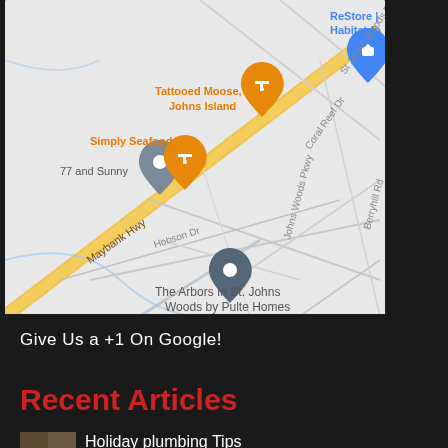[Figure (map): Google Maps screenshot showing Maybank Hwy area with landmarks: Tattooed Moose Johns Island, Simply Seafood, 77 and Sunny, The Arbors In St. Johns Woods by Pulte Homes, ReStore Habitat for, Coral Reef Dr, Hobson Dr, Berryhill Rd, Johns Woods Pkwy, St Johns Woods Pkwy]
Give Us a +1 On Google!
Recent Articles
Holiday plumbing Tips